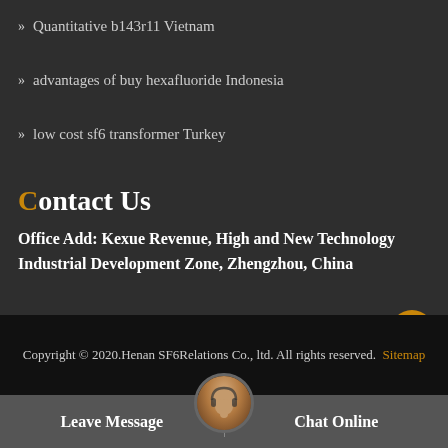» Quantitative b143r11 Vietnam
» advantages of buy hexafluoride Indonesia
» low cost sf6 transformer Turkey
Contact Us
Office Add: Kexue Revenue, High and New Technology Industrial Development Zone, Zhengzhou, China
Copyright © 2020.Henan SF6Relations Co., ltd. All rights reserved. Sitemap
Leave Message
Chat Online